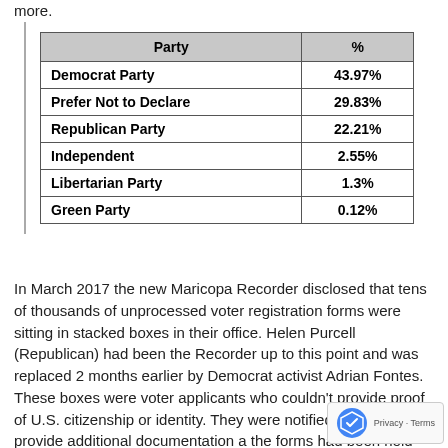more.
| Party | % |
| --- | --- |
| Democrat Party | 43.97% |
| Prefer Not to Declare | 29.83% |
| Republican Party | 22.21% |
| Independent | 2.55% |
| Libertarian Party | 1.3% |
| Green Party | 0.12% |
In March 2017 the new Maricopa Recorder disclosed that tens of thousands of unprocessed voter registration forms were sitting in stacked boxes in their office. Helen Purcell (Republican) had been the Recorder up to this point and was replaced 2 months earlier by Democrat activist Adrian Fontes. These boxes were voter applicants who couldn't provide proof of U.S. citizenship or identity. They were notified by mail to provide additional documentation and the forms had been held indefinitely. Why?